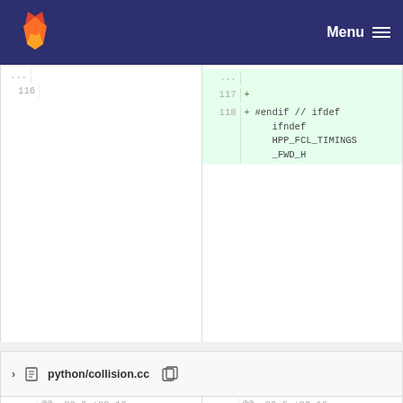GitLab navigation — Menu
[Figure (screenshot): Code diff view showing two diff sections: top section with lines 117-118 adding '#endif // ifndef HPP_FCL_TIMINGS_FWD_H', and bottom section for python/collision.cc showing lines 80-84 with .export_values() and new lines 83-84 with '+' markers and 'if(!eigenv::re' truncated.]